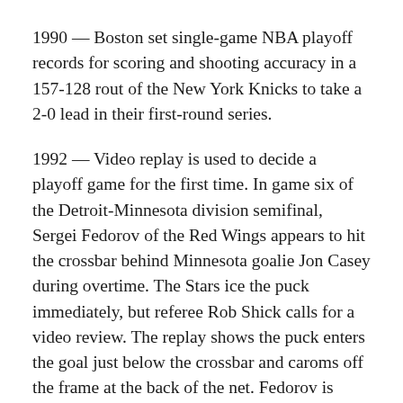1990 — Boston set single-game NBA playoff records for scoring and shooting accuracy in a 157-128 rout of the New York Knicks to take a 2-0 lead in their first-round series.
1992 — Video replay is used to decide a playoff game for the first time. In game six of the Detroit-Minnesota division semifinal, Sergei Fedorov of the Red Wings appears to hit the crossbar behind Minnesota goalie Jon Casey during overtime. The Stars ice the puck immediately, but referee Rob Shick calls for a video review. The replay shows the puck enters the goal just below the crossbar and caroms off the frame at the back of the net. Fedorov is awarded the goal to give the Red Wings a series-tying 1-0 victory.
1995 — Michael Jordan, in his first playoff game since his return from retirement, scored 48 points as the...